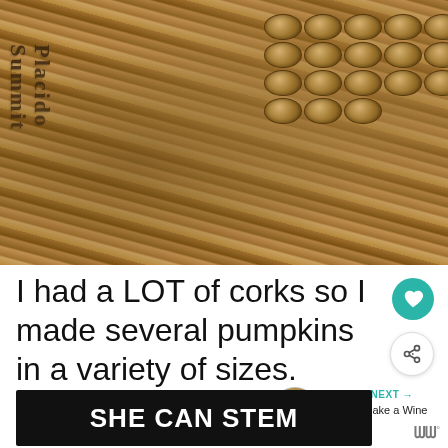[Figure (photo): Close-up photo of wine corks arranged together, showing the cylindrical ends of many corks. Some corks have text visible including 'Placido' and 'Summit'. The corks appear to have a gold/bronze painted or aged appearance, arranged in rows.]
I had a LOT of corks so I made several pumpkins in a variety of sizes.
[Figure (other): WHAT'S NEXT arrow label with thumbnail image of corks and text 'How to Make a Wine Cork...']
[Figure (screenshot): Dark banner with white bold text reading 'SHE CAN STEM']
[Figure (logo): WW logo with degree symbol in bottom right corner]